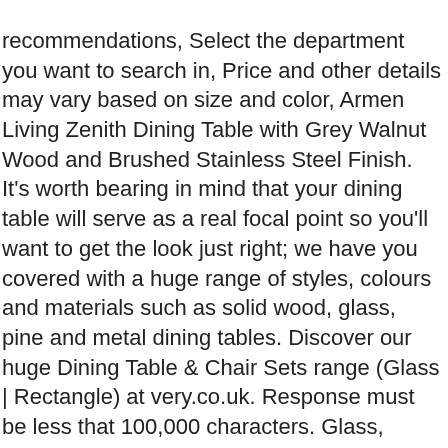recommendations, Select the department you want to search in, Price and other details may vary based on size and color, Armen Living Zenith Dining Table with Grey Walnut Wood and Brushed Stainless Steel Finish. It's worth bearing in mind that your dining table will serve as a real focal point so you'll want to get the look just right; we have you covered with a huge range of styles, colours and materials such as solid wood, glass, pine and metal dining tables. Discover our huge Dining Table & Chair Sets range (Glass | Rectangle) at very.co.uk. Response must be less that 100,000 characters. Glass, Rectangle Kitchen & Dining Room Tables : Choose the dining room table design that defines your family's style and character. With buy now pay later option available and easy free returns. The set includes a rectangular glass table and four or six beautiful chairs ,making a stunning display. You're seeing this ad based on the product's relevance to your search query. Get set for glass dining table at Argos. Monarch Specialties I 36"X 48" / Taupe Reclaimed Wood-Look/Black Dining Table Metal Base, 36" x 48". Monarch Specialties Dining